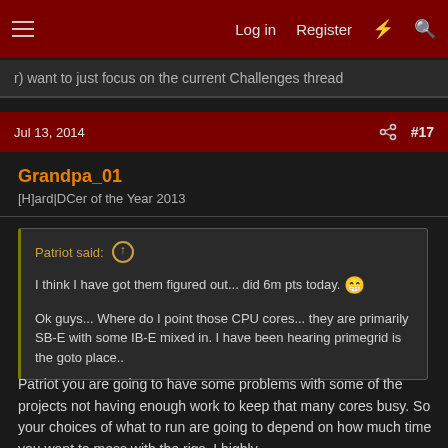Log in  Register  #  Search
r) want to just focus on the current Challenges thread
Jul 13, 2014  #17
Grandpa_01
[H]ard|DCer of the Year 2013
Patriot said:
I think I have got them figured out... did 6m pts today.
Ok guys... Where do I point those CPU cores... they are primarily SB-E with some IB-E mixed in. I have been hearing primegrid is the goto place..
Patriot you are going to have some problems with some of the projects not having enough work to keep that many cores busy. So your choices of what to run are going to depend on how much time you want to mess with the rigs. I highly